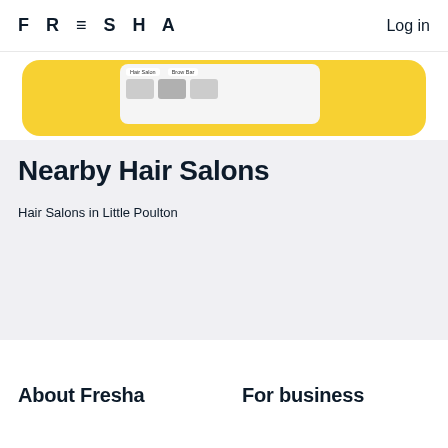FRESHA
Log in
[Figure (screenshot): Partial screenshot of the Fresha app showing Hair Salon and Brow Bar tabs on a yellow background]
Nearby Hair Salons
Hair Salons in Little Poulton
About Fresha
For business